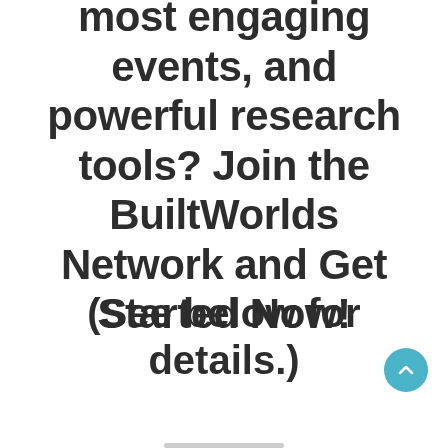most engaging events, and powerful research tools? Join the BuiltWorlds Network and Get Started Now!
(See below for details.)